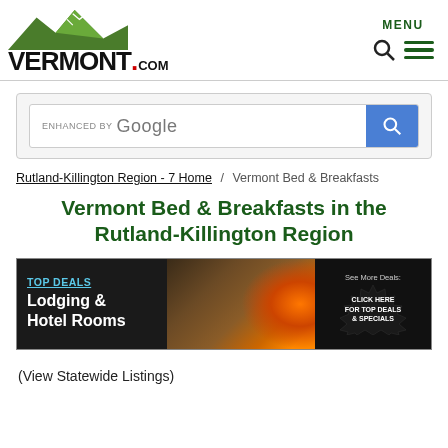[Figure (logo): Vermont.com logo with green mountain illustration and VERMONT.COM text]
[Figure (screenshot): Google search box enhanced by Google with blue search button]
Rutland-Killington Region - 7 Home / Vermont Bed & Breakfasts
Vermont Bed & Breakfasts in the Rutland-Killington Region
[Figure (infographic): Banner ad: TOP DEALS - Lodging & Hotel Rooms - See More Deals: CLICK HERE FOR TOP DEALS & SPECIALS]
(View Statewide Listings)